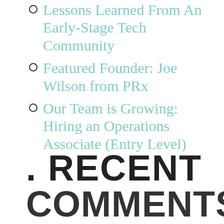Lessons Learned From An Early-Stage Tech Community
Featured Founder: Joe Wilson from PRx
Our Team is Growing: Hiring an Operations Associate (Entry Level)
. RECENT COMMENTS